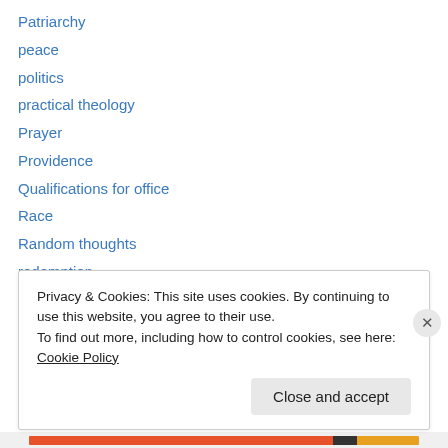Patriarchy
peace
politics
practical theology
Prayer
Providence
Qualifications for office
Race
Random thoughts
redemption
Repentance
rest
sabbath
Privacy & Cookies: This site uses cookies. By continuing to use this website, you agree to their use. To find out more, including how to control cookies, see here: Cookie Policy
Close and accept